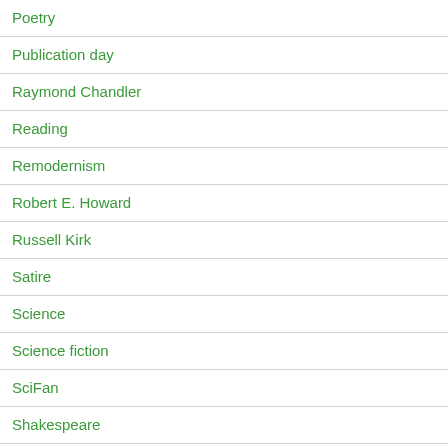Poetry
Publication day
Raymond Chandler
Reading
Remodernism
Robert E. Howard
Russell Kirk
Satire
Science
Science fiction
SciFan
Shakespeare
slush pile news